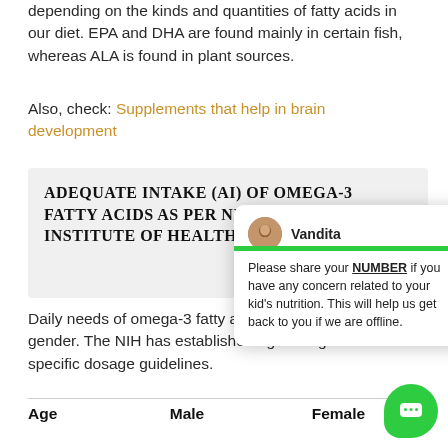depending on the kinds and quantities of fatty acids in our diet. EPA and DHA are found mainly in certain fish, whereas ALA is found in plant sources.
Also, check: Supplements that help in brain development
[Figure (screenshot): Gray box containing bold uppercase heading: ADEQUATE INTAKE (AI) OF OMEGA-3 FATTY ACIDS AS PER NIH (NATIONAL INSTITUTE OF HEALTH), partially obscured by a popup chat widget.]
[Figure (screenshot): Chat popup from Vandita: 'Please share your NUMBER if you have any concern related to your kid's nutrition. This will help us get back to you if we are offline.']
Daily needs of omega-3 fatty acids vary by age and gender. The NIH has established age and gender-specific dosage guidelines.
| Age | Male | Female |
| --- | --- | --- |